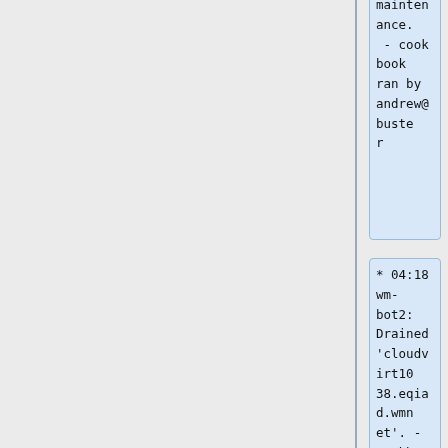maintenance. - cookbook ran by andrew@buster
* 04:18 wm-bot2: Drained 'cloudvirt1038.eqiad.wmnet'. - cookbook ran by andrew@buster
* 04:16 wm-bot2: Set cloudvirt 'cloudvirt1038.eqiad.wmnet'